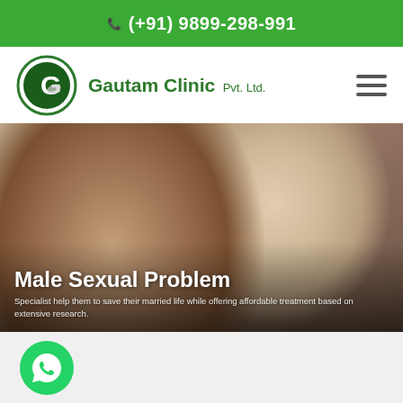(+91) 9899-298-991
[Figure (logo): Gautam Clinic circular logo with G letter]
Gautam Clinic Pvt. Ltd.
[Figure (photo): A man sitting with head down looking distressed, woman blurred in background on a bed, representing male sexual problem]
Male Sexual Problem
Specialist help them to save their married life while offering affordable treatment based on extensive research.
[Figure (illustration): WhatsApp contact button (green circle with phone icon)]